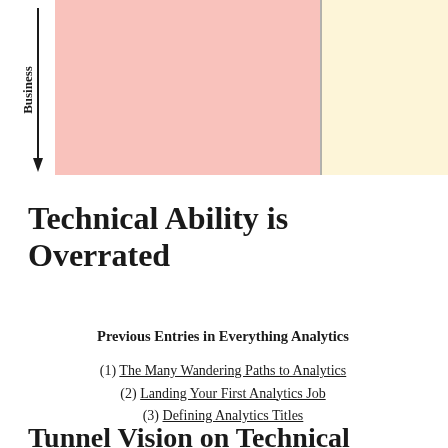[Figure (infographic): 2x2 quadrant matrix diagram. Left side has a vertical axis labeled 'Business' with a downward arrow. The top-left quadrant is filled with a salmon/pink color. The top-right quadrant is filled with a light yellow/cream color. A vertical dividing line separates left and right quadrants.]
Technical Ability is Overrated
Previous Entries in Everything Analytics
(1) The Many Wandering Paths to Analytics
(2) Landing Your First Analytics Job
(3) Defining Analytics Titles
Tunnel Vision on Technical Ability